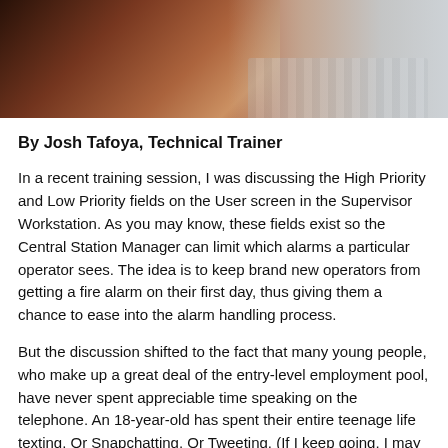[Figure (photo): Photo of a person with dark hair viewed from above/behind, working at a laptop or desk, with warm tones on left and lighter tones with keyboard visible on right.]
By Josh Tafoya, Technical Trainer
In a recent training session, I was discussing the High Priority and Low Priority fields on the User screen in the Supervisor Workstation. As you may know, these fields exist so the Central Station Manager can limit which alarms a particular operator sees. The idea is to keep brand new operators from getting a fire alarm on their first day, thus giving them a chance to ease into the alarm handling process.
But the discussion shifted to the fact that many young people, who make up a great deal of the entry-level employment pool, have never spent appreciable time speaking on the telephone. An 18-year-old has spent their entire teenage life texting. Or Snapchatting. Or Tweeting. (If I keep going, I may betray how old I actually am by listing something that hasn't been used in years.)